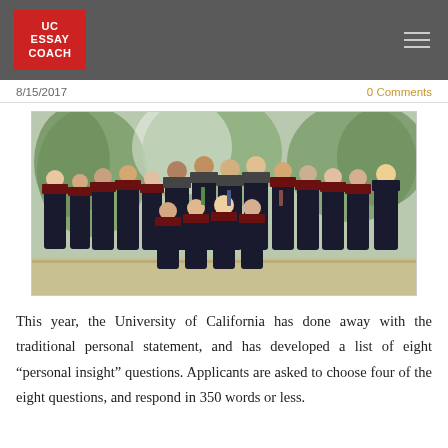UC ESSAY COACH
8/15/2017
0 Comments
[Figure (photo): Group photo of university graduates in black academic gowns with dark red/maroon hoods, standing and sitting outdoors in front of flowering trees]
This year, the University of California has done away with the traditional personal statement, and has developed a list of eight “personal insight” questions. Applicants are asked to choose four of the eight questions, and respond in 350 words or less.